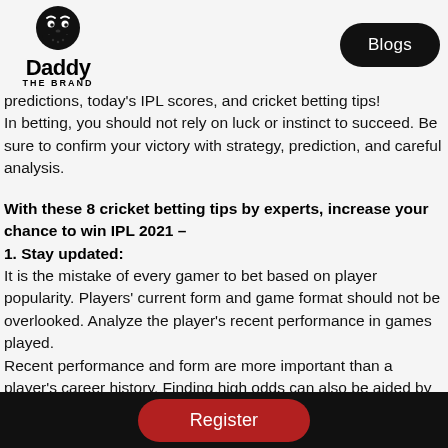[Figure (logo): Daddy The Brand logo with cartoon face, bold 'Daddy' text, and 'THE BRAND' subtitle]
Blogs button in top right
predictions, today's IPL scores, and cricket betting tips! In betting, you should not rely on luck or instinct to succeed. Be sure to confirm your victory with strategy, prediction, and careful analysis.
With these 8 cricket betting tips by experts, increase your chance to win IPL 2021 –
1. Stay updated:
It is the mistake of every gamer to bet based on player popularity. Players' current form and game format should not be overlooked. Analyze the player's recent performance in games played. Recent performance and form are more important than a player's career history. Finding high odds can also be aided by knowing the latest injury news about players. In order to win an IPL, it is essential to keep an eye on a player's private life as
Register